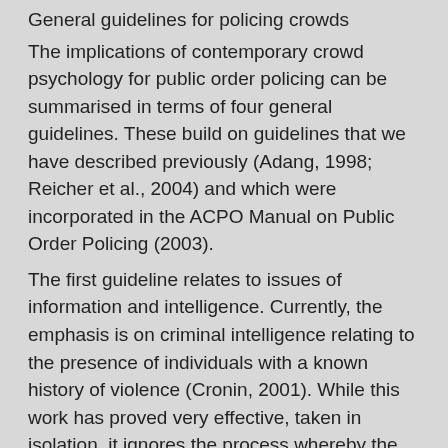General guidelines for policing crowds
The implications of contemporary crowd psychology for public order policing can be summarised in terms of four general guidelines. These build on guidelines that we have described previously (Adang, 1998; Reicher et al., 2004) and which were incorporated in the ACPO Manual on Public Order Policing (2003).
The first guideline relates to issues of information and intelligence. Currently, the emphasis is on criminal intelligence relating to the presence of individuals with a known history of violence (Cronin, 2001). While this work has proved very effective, taken in isolation, it ignores the process whereby the violence of the few does (or does not) become collective. If the police are to understand this, they need to understand the social identities of crowd members.We have shown how the behaviour of crowd members, their